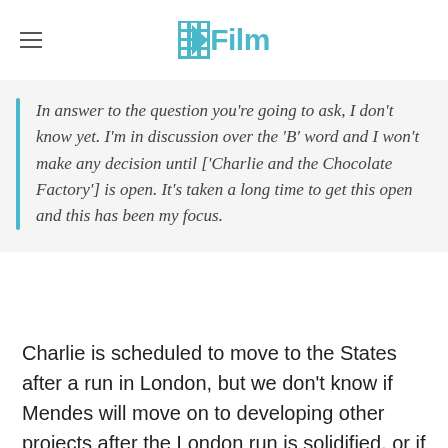/Film
In answer to the question you're going to ask, I don't know yet. I'm in discussion over the 'B' word and I won't make any decision until ['Charlie and the Chocolate Factory'] is open. It's taken a long time to get this open and this has been my focus.
Charlie is scheduled to move to the States after a run in London, but we don't know if Mendes will move on to developing other projects after the London run is solidified, or if he'll hold off until it gets to the US. This doesn't sound like he's brushing off Bond once more, however, merely that he's focusing on one thing at a time.